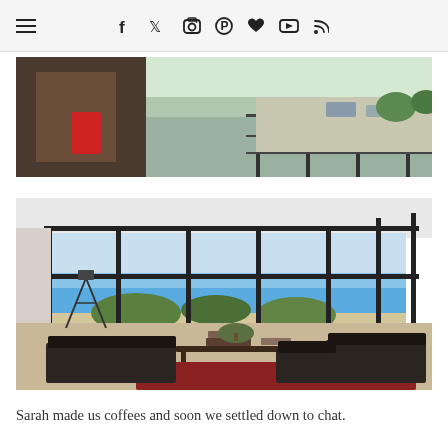Navigation bar with hamburger menu and social icons: f (Facebook), Twitter, Instagram, Pinterest, heart/Bloglovin, YouTube, RSS
[Figure (photo): Partial photo showing a person holding a red item on a balcony/terrace with railings and a street/parking area visible below in background]
[Figure (photo): Interior photo of a modern living room with floor-to-ceiling glass windows/sliding doors looking out to a coastal ocean view. A tripod with camera is visible on the left. Dark leather sofas and a coffee table with books in the foreground on a red rug.]
Sarah made us coffees and soon we settled down to chat.